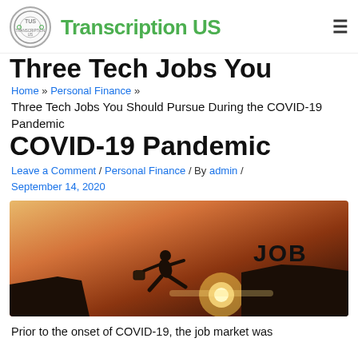Transcription US
Three Tech Jobs You
Home » Personal Finance »
Three Tech Jobs You Should Pursue During the COVID-19 Pandemic
COVID-19 Pandemic
Leave a Comment / Personal Finance / By admin / September 14, 2020
[Figure (photo): A person in business attire leaping across a mountain gap toward a rock with the word JOB written on it, against a sunset sky]
Prior to the onset of COVID-19, the job market was